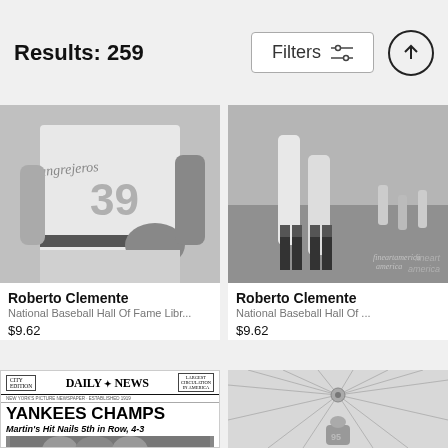Results: 259
[Figure (photo): Black and white close-up of a baseball player wearing jersey number 39 with 'Cangrejeros' text, holding a glove]
Roberto Clemente
National Baseball Hall Of Fame Libr...
$9.62
[Figure (photo): Black and white photo of baseball players' legs/feet on a grass field with 'fineartamerica' watermark]
Roberto Clemente
National Baseball Hall Of ...
$9.62
[Figure (photo): Daily News newspaper front page: YANKEES CHAMPS - Martin's Hit Nails 5th in Row, 4-3, with photo of celebrating players]
[Figure (photo): Black and white overhead photo showing circular/radial pattern, possibly a parachute or stadium view from above with a player visible]